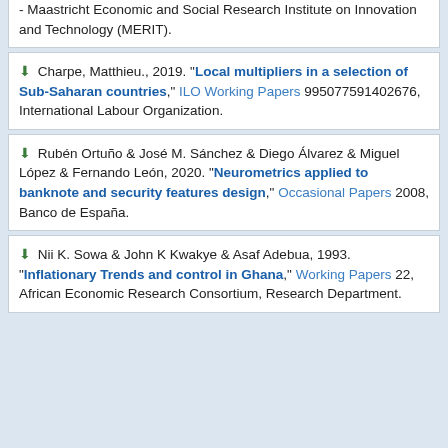- Maastricht Economic and Social Research Institute on Innovation and Technology (MERIT).
Charpe, Matthieu., 2019. "Local multipliers in a selection of Sub-Saharan countries," ILO Working Papers 995077591402676, International Labour Organization.
Rubén Ortuño & José M. Sánchez & Diego Álvarez & Miguel López & Fernando León, 2020. "Neurometrics applied to banknote and security features design," Occasional Papers 2008, Banco de España.
Nii K. Sowa & John K Kwakye & Asaf Adebua, 1993. "Inflationary Trends and control in Ghana," Working Papers 22, African Economic Research Consortium, Research Department.